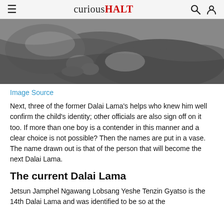curiousHALT
[Figure (photo): Black and white photograph showing hands and draped fabric/robes, likely of the Dalai Lama or a monk]
Image Source
Next, three of the former Dalai Lama's helps who knew him well confirm the child's identity; other officials are also sign off on it too. If more than one boy is a contender in this manner and a clear choice is not possible? Then the names are put in a vase. The name drawn out is that of the person that will become the next Dalai Lama.
The current Dalai Lama
Jetsun Jamphel Ngawang Lobsang Yeshe Tenzin Gyatso is the 14th Dalai Lama and was identified to be so at the